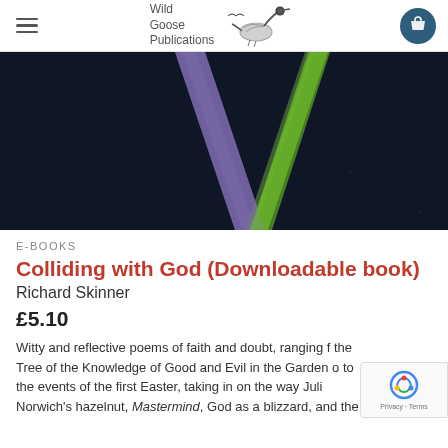Wild Goose Publications
[Figure (photo): Abstract close-up photo of two crossing lines on dark blue/black textured surface — one purple/lavender diagonal stripe and one neon green diagonal stripe forming a V shape]
E-BOOKS
Colliding with God (Downloadable book)
Richard Skinner
£5.10
Witty and reflective poems of faith and doubt, ranging f the Tree of the Knowledge of Good and Evil in the Garden o to the events of the first Easter, taking in on the way Juli Norwich's hazelnut, Mastermind, God as a blizzard, and the